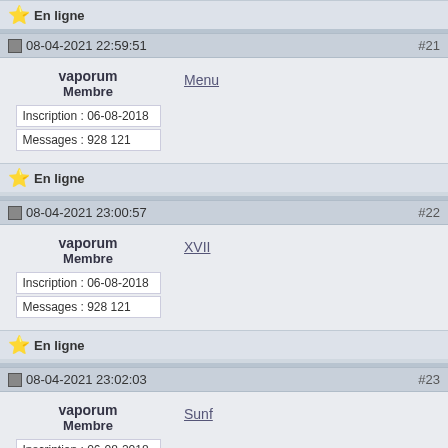⭐ En ligne
08-04-2021 22:59:51 #21
vaporum
Membre
Menu
Inscription : 06-08-2018
Messages : 928 121
⭐ En ligne
08-04-2021 23:00:57 #22
vaporum
Membre
XVII
Inscription : 06-08-2018
Messages : 928 121
⭐ En ligne
08-04-2021 23:02:03 #23
vaporum
Membre
Sunf
Inscription : 06-08-2018